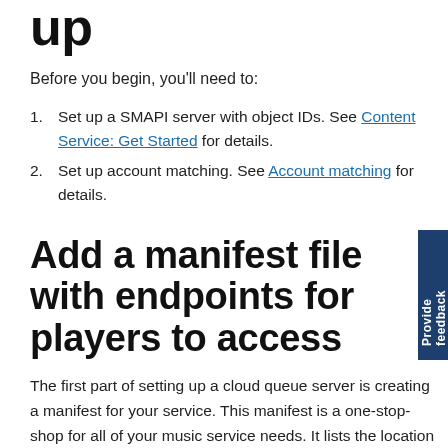up
Before you begin, you'll need to:
Set up a SMAPI server with object IDs. See Content Service: Get Started for details.
Set up account matching. See Account matching for details.
Add a manifest file with endpoints for players to access
The first part of setting up a cloud queue server is creating a manifest for your service. This manifest is a one-stop-shop for all of your music service needs. It lists the location of your cloud queue endpoints and other resources. The